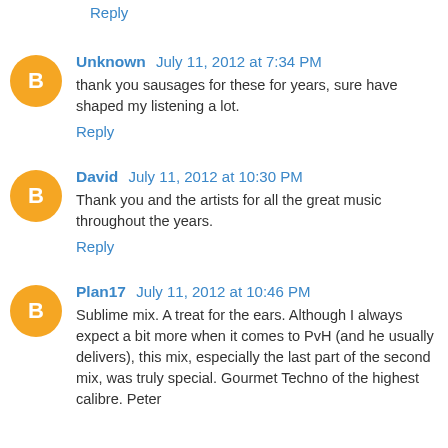Reply
Unknown  July 11, 2012 at 7:34 PM
thank you sausages for these for years, sure have shaped my listening a lot.
Reply
David  July 11, 2012 at 10:30 PM
Thank you and the artists for all the great music throughout the years.
Reply
Plan17  July 11, 2012 at 10:46 PM
Sublime mix. A treat for the ears. Although I always expect a bit more when it comes to PvH (and he usually delivers), this mix, especially the last part of the second mix, was truly special. Gourmet Techno of the highest calibre. Peter